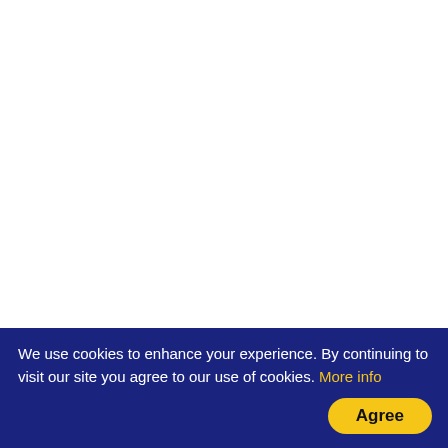[Figure (screenshot): White empty content area at top of webpage]
Latest
[Figure (photo): Small thumbnail image of people, associated with article about How To Lose Weight]
How To Lose Weight
We use cookies to enhance your experience. By continuing to visit our site you agree to our use of cookies. More info
Agree